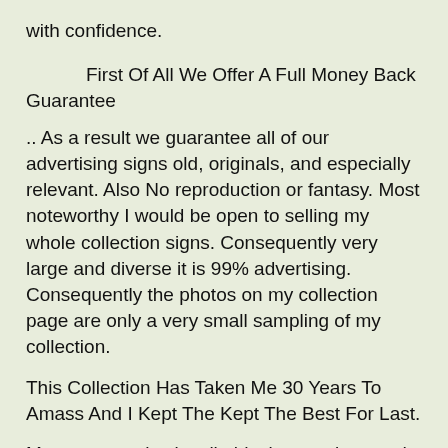with confidence.
First Of All We Offer A Full Money Back Guarantee
.. As a result we guarantee all of our advertising signs old, originals, and especially relevant. Also No reproduction or fantasy. Most noteworthy I would be open to selling my whole collection signs. Consequently very large and diverse it is 99% advertising. Consequently the photos on my collection page are only a very small sampling of my collection.
This Collection Has Taken Me 30 Years To Amass And I Kept The Kept The Best For Last.
Most noteworthy, its all old, vintage signs and classic